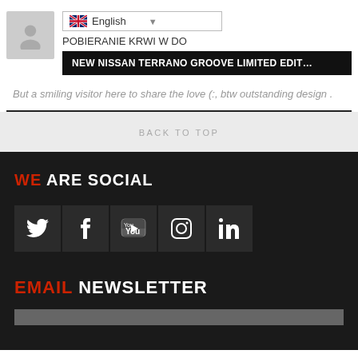POBIERANIE KRWI W DO
[Figure (screenshot): Language selector dropdown showing UK flag and 'English' text]
NEW NISSAN TERRANO GROOVE LIMITED EDIT…
But a smiling visitor here to share the love (:, btw outstanding design .
BACK TO TOP
WE ARE SOCIAL
[Figure (infographic): Social media icons: Twitter, Facebook, YouTube, Instagram, LinkedIn]
EMAIL NEWSLETTER